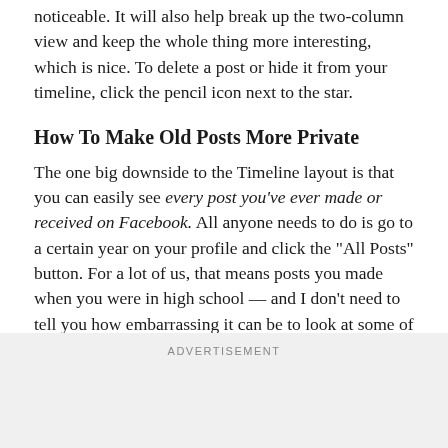noticeable. It will also help break up the two-column view and keep the whole thing more interesting, which is nice. To delete a post or hide it from your timeline, click the pencil icon next to the star.
How To Make Old Posts More Private
The one big downside to the Timeline layout is that you can easily see every post you’ve ever made or received on Facebook. All anyone needs to do is go to a certain year on your profile and click the “All Posts” button. For a lot of us, that means posts you made when you were in high school — and I don’t need to tell you how embarrassing it can be to look at some of the things you used to say in high school.
[Figure (other): Broken image placeholder labeled 'Image']
ADVERTISEMENT